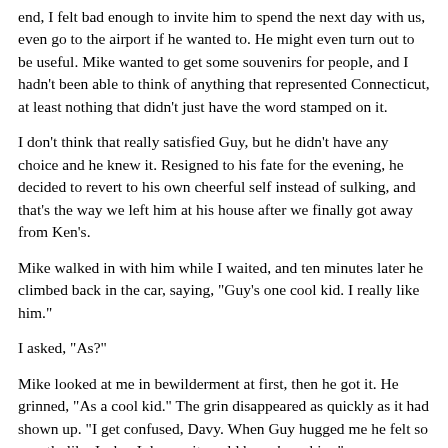end, I felt bad enough to invite him to spend the next day with us, even go to the airport if he wanted to. He might even turn out to be useful. Mike wanted to get some souvenirs for people, and I hadn't been able to think of anything that represented Connecticut, at least nothing that didn't just have the word stamped on it.
I don't think that really satisfied Guy, but he didn't have any choice and he knew it. Resigned to his fate for the evening, he decided to revert to his own cheerful self instead of sulking, and that's the way we left him at his house after we finally got away from Ken's.
Mike walked in with him while I waited, and ten minutes later he climbed back in the car, saying, "Guy's one cool kid. I really like him."
I asked, "As?"
Mike looked at me in bewilderment at first, then he got it. He grinned, "As a cool kid." The grin disappeared as quickly as it had shown up. "I get confused, Davy. When Guy hugged me he felt so exactly like Jack... I dunno, it could have been him."
"And?"
"And? Well, he's gay, so it means it's possible, and he freakin' smells so good." He started fiddling with his fingers. "I ginko t—